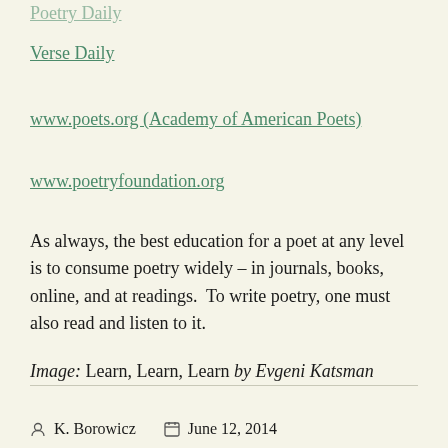Poetry Daily
Verse Daily
www.poets.org (Academy of American Poets)
www.poetryfoundation.org
As always, the best education for a poet at any level is to consume poetry widely – in journals, books, online, and at readings.  To write poetry, one must also read and listen to it.
Image: Learn, Learn, Learn by Evgeni Katsman
K. Borowicz   June 12, 2014